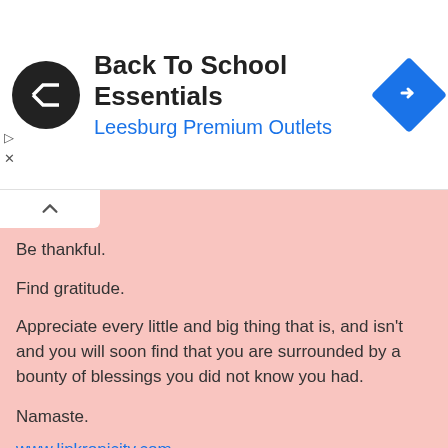[Figure (screenshot): Ad banner for Back To School Essentials at Leesburg Premium Outlets with logo and navigation icon]
Be thankful.

Find gratitude.

Appreciate every little and big thing that is, and isn't and you will soon find that you are surrounded by a bounty of blessings you did not know you had.

Namaste.
www.linkronicity.com
www.facebook.com/linkronicity
www.twitter.com/linkronicity
LINKRONICITY at 9:14 AM
Share